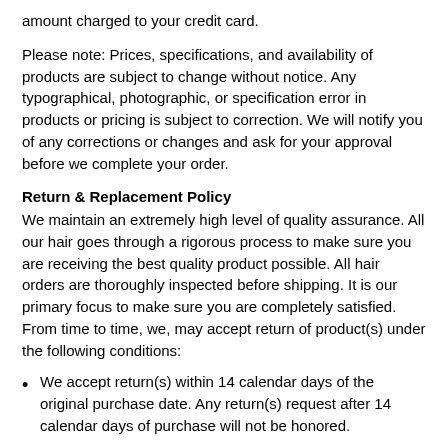amount charged to your credit card.
Please note: Prices, specifications, and availability of products are subject to change without notice. Any typographical, photographic, or specification error in products or pricing is subject to correction. We will notify you of any corrections or changes and ask for your approval before we complete your order.
Return & Replacement Policy
We maintain an extremely high level of quality assurance. All our hair goes through a rigorous process to make sure you are receiving the best quality product possible. All hair orders are thoroughly inspected before shipping. It is our primary focus to make sure you are completely satisfied. From time to time, we, may accept return of product(s) under the following conditions:
We accept return(s) within 14 calendar days of the original purchase date. Any return(s) request after 14 calendar days of purchase will not be honored.
Merchandise must be in original condition. We will not